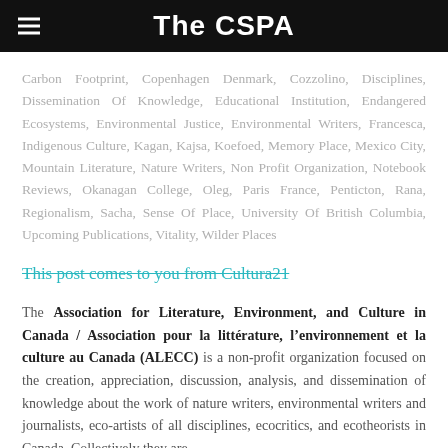The CSPA
Carbon Footprint, Copenhagen Denmark, Cozzolino, Disciplines, Dissemination Of Knowledge, Educational Institution, Endangered Ecosystems, Environmental Justice, Environmental Writers, Francesca, Indigenous Culture, Kagan, Kajsa, Koefoed, Memory Place, Mexico City, Mountain Literature, Nature Writers, Non Profit Organization, Notebook Reviews, Okanagan College, Oleg, Paris France, Penticton, Rana, Regionalism, Sacha, Sense Of Place, University Of British Columbia, Upcoming Publications, Vitality, Wilder Places
This post comes to you from Cultura21
The Association for Literature, Environment, and Culture in Canada / Association pour la littérature, l'environnement et la culture au Canada (ALECC) is a non-profit organization focused on the creation, appreciation, discussion, analysis, and dissemination of knowledge about the work of nature writers, environmental writers and journalists, eco-artists of all disciplines, ecocritics, and ecotheorists in Canada. Collectively they are